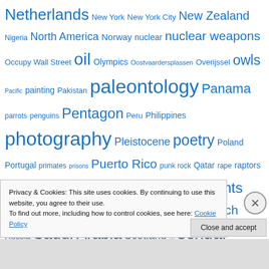Netherlands New York New York City New Zealand Nigeria North America Norway nuclear nuclear weapons Occupy Wall Street oil Olympics Oostvaardersplassen Overijssel owls Pacific painting Pakistan paleontology Panama parrots penguins Pentagon Peru Philippines photography Pleistocene poetry Poland Portugal primates prisons Puerto Rico punk rock Qatar rape raptors refugees Republican party rock rodents Roman Catholicism royalty Rupert Murdoch Russia Saudi Arabia Scotland ... sexual
Privacy & Cookies: This site uses cookies. By continuing to use this website, you agree to their use. To find out more, including how to control cookies, see here: Cookie Policy
Close and accept